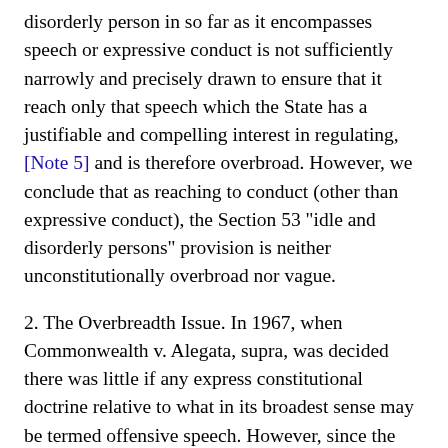disorderly person in so far as it encompasses speech or expressive conduct is not sufficiently narrowly and precisely drawn to ensure that it reach only that speech which the State has a justifiable and compelling interest in regulating, [Note 5] and is therefore overbroad. However, we conclude that as reaching to conduct (other than expressive conduct), the Section 53 "idle and disorderly persons" provision is neither unconstitutionally overbroad nor vague.

2. The Overbreadth Issue. In 1967, when Commonwealth v. Alegata, supra, was decided there was little if any express constitutional doctrine relative to what in its broadest sense may be termed offensive speech. However, since the date of the Alegata case there have been numerous United States Supreme Court decisions concerning convictions for offensive